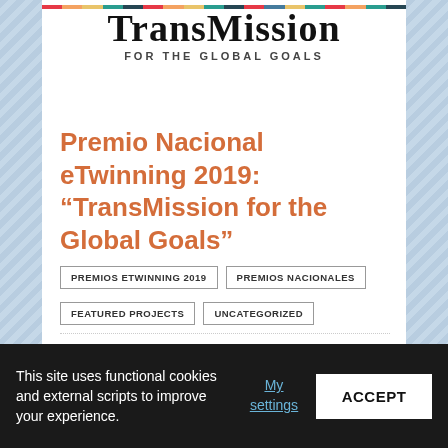[Figure (logo): TransMission For The Global Goals logo with rainbow bar at top]
Premio Nacional eTwinning 2019: “TransMission for the Global Goals”
PREMIOS ETWINNING 2019
PREMIOS NACIONALES
FEATURED PROJECTS
UNCATEGORIZED
This entry is not yet available in the language requested. Sorry for the inconvenience. For the sake of viewer convenience, the content is shown
This site uses functional cookies and external scripts to improve your experience. My settings ACCEPT